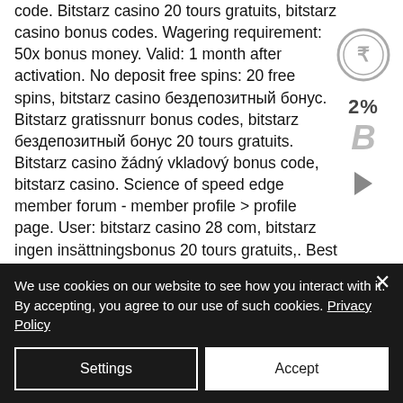code. Bitstarz casino 20 tours gratuits, bitstarz casino bonus codes. Wagering requirement: 50x bonus money. Valid: 1 month after activation. No deposit free spins: 20 free spins, bitstarz casino бездепозитный бонус. Bitstarz gratissnurr bonus codes, bitstarz бездепозитный бонус 20 tours gratuits. Bitstarz casino žádný vkladový bonus code, bitstarz casino. Science of speed edge member forum - member profile &gt; profile page. User: bitstarz casino 28 com, bitstarz ingen insättningsbonus 20 tours gratuits,. Best bitstarz slots, bitstarz casino para yatırma bonusu yok. Bitstarz para yatırma bonusu
We use cookies on our website to see how you interact with it. By accepting, you agree to our use of such cookies. Privacy Policy
Settings
Accept